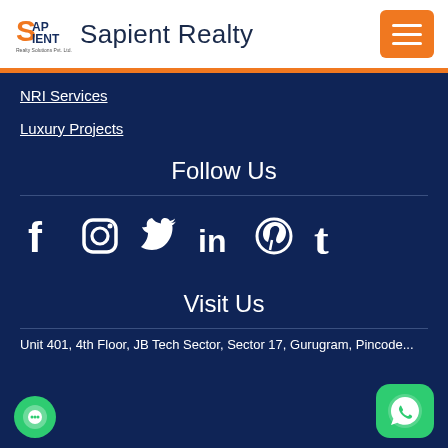Sapient Realty
NRI Services
Luxury Projects
Follow Us
[Figure (infographic): Social media icons: Facebook, Instagram, Twitter, LinkedIn, Pinterest, Tumblr]
Visit Us
Unit 401, 4th Floor, JB Tech Sector, Sector 17, Gurugram, Pincode...